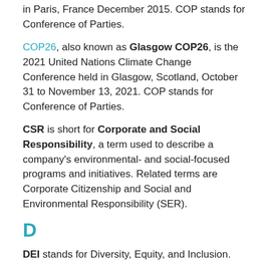in Paris, France December 2015. COP stands for Conference of Parties.
COP26, also known as Glasgow COP26, is the 2021 United Nations Climate Change Conference held in Glasgow, Scotland, October 31 to November 13, 2021. COP stands for Conference of Parties.
CSR is short for Corporate and Social Responsibility, a term used to describe a company's environmental- and social-focused programs and initiatives. Related terms are Corporate Citizenship and Social and Environmental Responsibility (SER).
D
DEI stands for Diversity, Equity, and Inclusion.
DevonWay ESG & Sustainability software (SaaS) helps companies in regulated, high-risk industries to